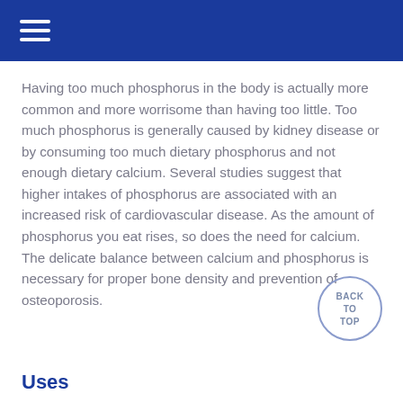≡
Having too much phosphorus in the body is actually more common and more worrisome than having too little. Too much phosphorus is generally caused by kidney disease or by consuming too much dietary phosphorus and not enough dietary calcium. Several studies suggest that higher intakes of phosphorus are associated with an increased risk of cardiovascular disease. As the amount of phosphorus you eat rises, so does the need for calcium. The delicate balance between calcium and phosphorus is necessary for proper bone density and prevention of osteoporosis.
Uses